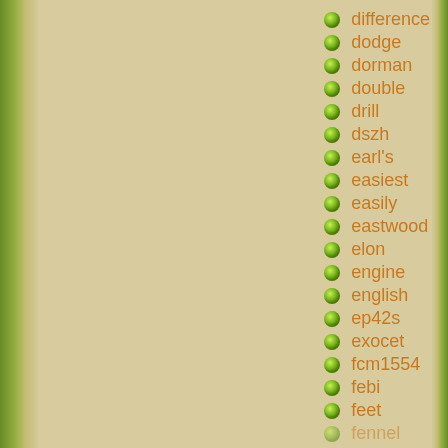difference
dodge
dorman
double
drill
dszh
earl's
easiest
easily
eastwood
elon
engine
english
ep42s
exocet
fcm1554
febi
feet
fennel